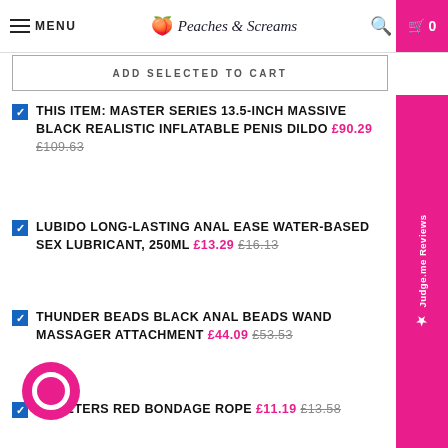MENU | Peaches & Screams | [search] [cart 0]
ADD SELECTED TO CART
THIS ITEM: MASTER SERIES 13.5-INCH MASSIVE BLACK REALISTIC INFLATABLE PENIS DILDO £90.29 £109.63
LUBIDO LONG-LASTING ANAL EASE WATER-BASED SEX LUBRICANT, 250ML £13.29 £16.13
THUNDER BEADS BLACK ANAL BEADS WAND MASSAGER ATTACHMENT £44.09 £53.53
10 METERS RED BONDAGE ROPE £11.19 £13.58